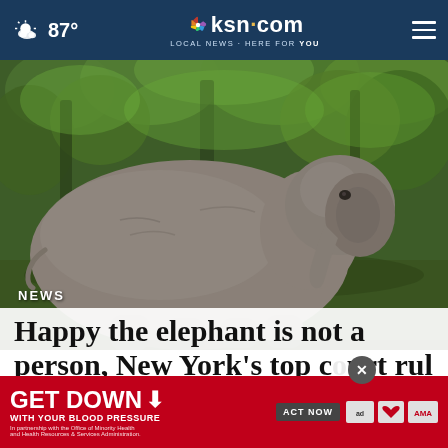87° | ksn.com LOCAL NEWS · HERE FOR YOU
[Figure (photo): A large elephant photographed in a green jungle setting, seen from the side, with lush tropical vegetation in the background.]
NEWS
Happy the elephant is not a person, New York's top court rul…
[Figure (infographic): GET DOWN WITH YOUR BLOOD PRESSURE advertisement banner with ACT NOW button, ad council logo, heart logo, and AMA logo. X close button visible.]